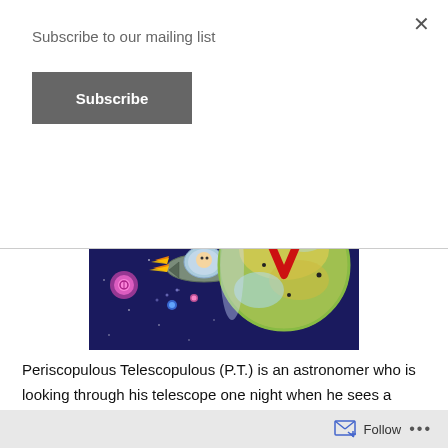Subscribe to our mailing list
Subscribe
[Figure (illustration): Cartoon illustration of a spaceship with a character inside flying through space toward a planet with a red V-shape on it, against a dark blue starry background with colorful glowing orbs.]
Periscopulous Telescopulous (P.T.) is an astronomer who is looking through his telescope one night when he sees a strange pattern with the letter V in the sky. He determines that it is a distress call from the Planet Vee, a planet inhabited by kids. Once upon a time, these round kids with V shaped faces lived a carefree existence, dancing,
Follow
...